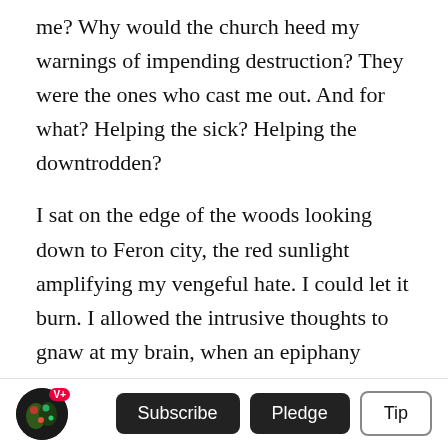me? Why would the church heed my warnings of impending destruction? They were the ones who cast me out. And for what? Helping the sick? Helping the downtrodden?
I sat on the edge of the woods looking down to Feron city, the red sunlight amplifying my vengeful hate. I could let it burn. I allowed the intrusive thoughts to gnaw at my brain, when an epiphany manifested. Burn. The sun. I now understood what I must do to defeat Vanthallus. Swiftly I pulled Angelica root out of my large rucksack. From the fields I gathered sunflowers. All I needed was oil
[Figure (other): Footer bar with avatar circle (dark with green/red illustration and V+ badge in red), Subscribe button (dark), Pledge button (dark), Tip button (outline)]